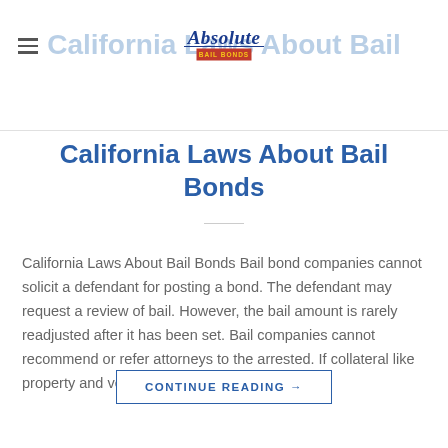Absolute Bail Bonds
California Laws About Bail Bonds
California Laws About Bail Bonds Bail bond companies cannot solicit a defendant for posting a bond. The defendant may request a review of bail. However, the bail amount is rarely readjusted after it has been set. Bail companies cannot recommend or refer attorneys to the arrested. If collateral like property and vehicles are put up [...]
CONTINUE READING →